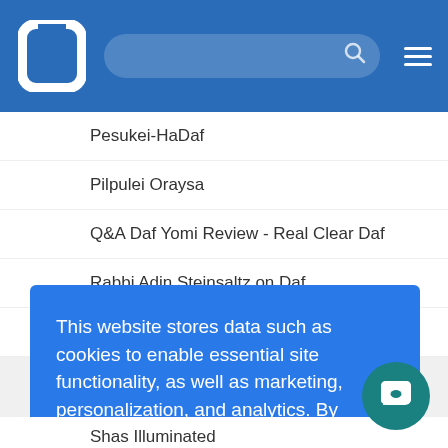[Figure (screenshot): Blue navigation bar with white logo (stylized letter U), search bar, and hamburger menu icon]
Pesukei-HaDaf
Pilpulei Oraysa
Q&A Daf Yomi Review - Real Clear Daf
Rabbi Adin Steinsaltz on Daf
Rabbi Aharon Sorscher Amud Shiur
This website stores data such as cookies to enable essential site functionality, as well as marketing, personalization, and analytics. By remaining on this website you indicate your consent.
Privacy Policy
Shas Illuminated